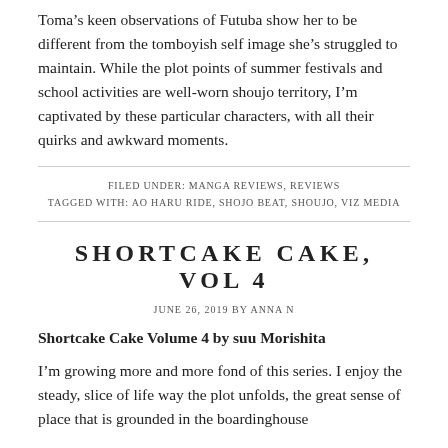Toma's keen observations of Futuba show her to be different from the tomboyish self image she's struggled to maintain. While the plot points of summer festivals and school activities are well-worn shoujo territory, I'm captivated by these particular characters, with all their quirks and awkward moments.
FILED UNDER: MANGA REVIEWS, REVIEWS
TAGGED WITH: AO HARU RIDE, SHOJO BEAT, SHOUJO, VIZ MEDIA
SHORTCAKE CAKE, VOL 4
JUNE 26, 2019 BY ANNA N
Shortcake Cake Volume 4 by suu Morishita
I'm growing more and more fond of this series. I enjoy the steady, slice of life way the plot unfolds, the great sense of place that is grounded in the boardinghouse